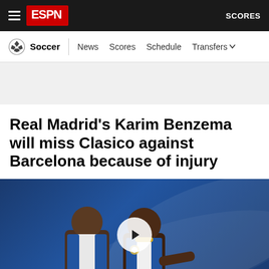ESPN — Soccer | News | Scores | Schedule | Transfers | SCORES
Real Madrid's Karim Benzema will miss Clasico against Barcelona because of injury
[Figure (photo): Two Real Madrid players celebrating, wearing white/blue jerseys with La Liga patch, blue stadium background with a video play button overlay in the center.]